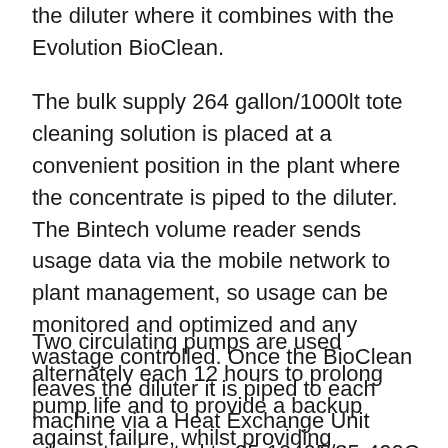the diluter where it combines with the Evolution BioClean.
The bulk supply 264 gallon/1000lt tote cleaning solution is placed at a convenient position in the plant where the concentrate is piped to the diluter. The Bintech volume reader sends usage data via the mobile network to plant management, so usage can be monitored and optimized and any wastage controlled. Once the BioClean leaves the diluter it is piped to each machine via a Heat Exchange Unit where it is heated to 95-1040F/35-400C for optimal performance.
Two circulating pumps are used alternately each 12 hours to prolong pump life and to provide a backup against failure, whilst providing continuous product supply.